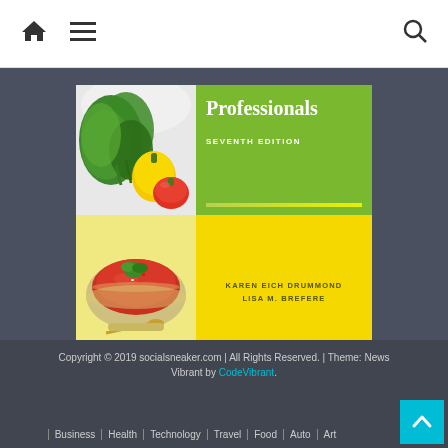Navigation bar with home, menu, and search icons
[Figure (illustration): Book cover for a nutrition/food science textbook titled 'Professionals, Seventh Edition' by Karen Eich Drummond and Lisa M. Brefere. The cover has a green top section with a photo of leafy greens and vegetables, and a yellow bottom section with a photo of a bowl of tomato gazpacho soup. The book title 'Professionals' appears in white on the green section with 'SEVENTH EDITION' below it. Author names appear in the yellow section.]
Copyright © 2019 socialsneaker.com | All Rights Reserved. | Theme: News Vibrant by CodeVibrant.
| Business | Health | Technology | Travel | Food | Auto | Art